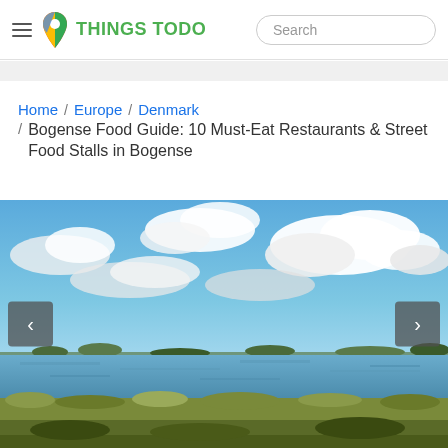THINGS TODO | Search
Home / Europe / Denmark / Bogense Food Guide: 10 Must-Eat Restaurants & Street Food Stalls in Bogense
[Figure (photo): Landscape photo showing a wide flat wetland or marsh with water reflecting the sky, green and brown vegetation in the foreground, distant low tree line on the horizon, and a partly cloudy blue sky with white cumulus clouds. Navigation arrows (left/right) are overlaid on the image.]